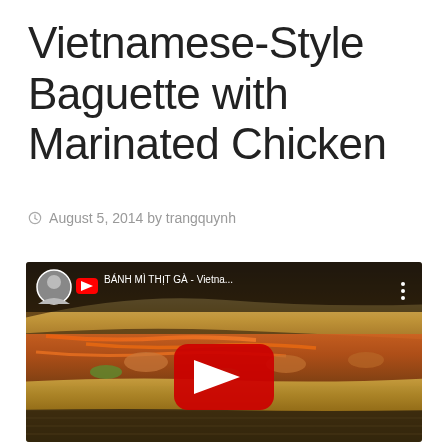Vietnamese-Style Baguette with Marinated Chicken
August 5, 2014 by trangquynh
[Figure (screenshot): YouTube video thumbnail showing a Vietnamese-style baguette (bánh mì) sandwich filled with marinated chicken, carrots, and cucumbers. The video title reads 'BÁNH MÌ THỊT GÀ - Vietna...' with a YouTube play button overlay and the channel avatar visible in the top-left corner.]